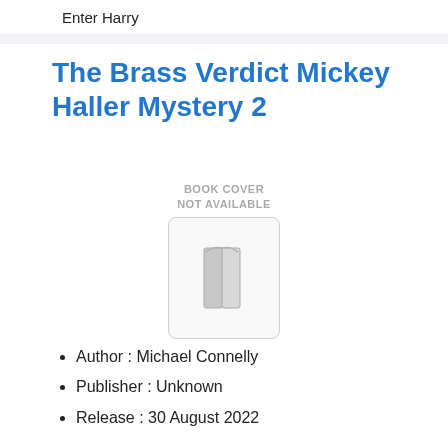Enter Harry
The Brass Verdict Mickey Haller Mystery 2
[Figure (illustration): Book cover placeholder image showing a generic book icon in a rounded rectangle, with text 'BOOK COVER NOT AVAILABLE' above]
Author : Michael Connelly
Publisher : Unknown
Release : 30 August 2022